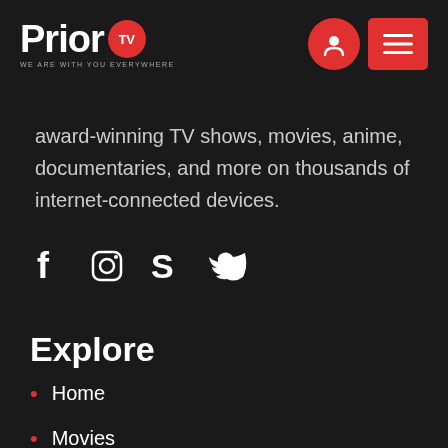[Figure (logo): PriorTV logo with white bold text 'Prior' and red circle badge with 'TV', tagline 'WE ARE WITH YOU EVERYWHERE']
[Figure (infographic): Header navigation icons: red circle with user/person icon, red square with hamburger menu icon]
award-winning TV shows, movies, anime, documentaries, and more on thousands of internet-connected devices.
[Figure (infographic): Social media icons: Facebook (f), Instagram (circle with camera outline), Skype (S), Twitter (bird)]
Explore
Home
Movies
Tv Shows